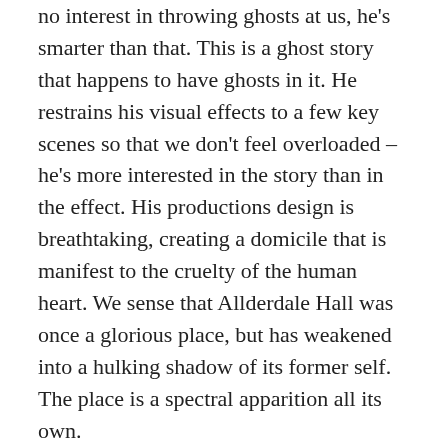no interest in throwing ghosts at us, he's smarter than that. This is a ghost story that happens to have ghosts in it. He restrains his visual effects to a few key scenes so that we don't feel overloaded – he's more interested in the story than in the effect. His productions design is breathtaking, creating a domicile that is manifest to the cruelty of the human heart. We sense that Allderdale Hall was once a glorious place, but has weakened into a hulking shadow of its former self. The place is a spectral apparition all its own.
Del Toro's production crew have don't a brilliant job creating Allerdale as a living, breathing monstrosity, a house of creaking doors, banging pipes, and rotten wood, it becomes a character by itself. Its bubbling red clay is a symbol of the evil here, as if Satan were determined to pull the house back into the Earth. But what is best is that Del Toro doesn't lean on these